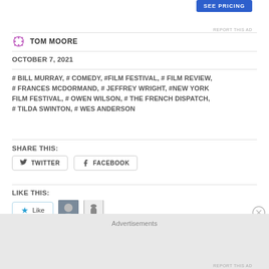SEE PRICING
REPORT THIS AD
TOM MOORE
OCTOBER 7, 2021
# BILL MURRAY, # COMEDY, #FILM FESTIVAL, # FILM REVIEW, # FRANCES MCDORMAND, # JEFFREY WRIGHT, #NEW YORK FILM FESTIVAL, # OWEN WILSON, # THE FRENCH DISPATCH, # TILDA SWINTON, # WES ANDERSON
SHARE THIS:
TWITTER
FACEBOOK
LIKE THIS:
Like
2 bloggers like this.
Advertisements
REPORT THIS AD